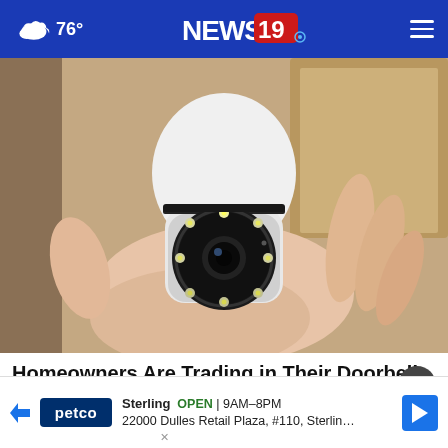76° NEWS19
[Figure (photo): A hand holding a white bulb-shaped security camera with a circular lens array and LED lights around the lens, shot-style product photo]
Homeowners Are Trading in Their Doorbell Cams for This.
Kelli…
[Figure (infographic): Petco ad banner: Sterling OPEN 9AM–8PM, 22000 Dulles Retail Plaza, #110, Sterling]